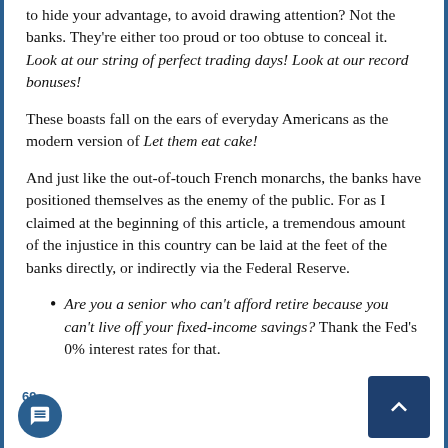to hide your advantage, to avoid drawing attention? Not the banks. They're either too proud or too obtuse to conceal it. Look at our string of perfect trading days! Look at our record bonuses!
These boasts fall on the ears of everyday Americans as the modern version of Let them eat cake!
And just like the out-of-touch French monarchs, the banks have positioned themselves as the enemy of the public. For as I claimed at the beginning of this article, a tremendous amount of the injustice in this country can be laid at the feet of the banks directly, or indirectly via the Federal Reserve.
Are you a senior who can't afford retire because you can't live off your fixed-income savings? Thank the Fed's 0% interest rates for that.
69